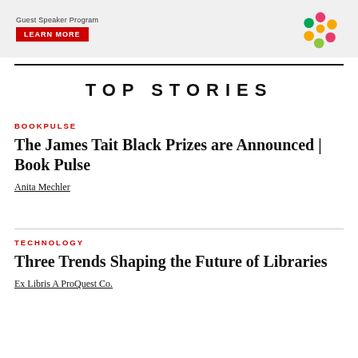[Figure (other): Banner advertisement with 'LEARN MORE' red button and colorful circular logo graphic]
TOP STORIES
BOOKPULSE
The James Tait Black Prizes are Announced | Book Pulse
Anita Mechler
TECHNOLOGY
Three Trends Shaping the Future of Libraries
Ex Libris A ProQuest Co.